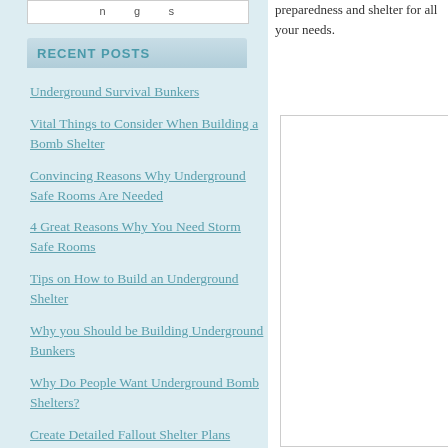preparedness and shelter for all your needs.
RECENT POSTS
Underground Survival Bunkers
Vital Things to Consider When Building a Bomb Shelter
Convincing Reasons Why Underground Safe Rooms Are Needed
4 Great Reasons Why You Need Storm Safe Rooms
Tips on How to Build an Underground Shelter
Why you Should be Building Underground Bunkers
Why Do People Want Underground Bomb Shelters?
Create Detailed Fallout Shelter Plans
What Makes a Fiberglass